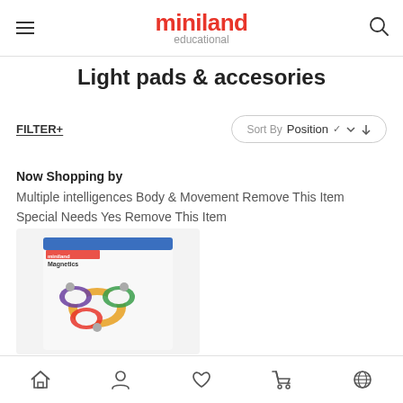miniland educational
Light pads & accesories
FILTER+
Sort By Position
Now Shopping by
Multiple intelligences Body & Movement Remove This Item
Special Needs Yes Remove This Item
[Figure (photo): Product box showing miniland Magnetics building toy with colorful ring-shaped magnets and metal balls on a light gray background]
Home, Account, Wishlist, Cart, Global navigation icons